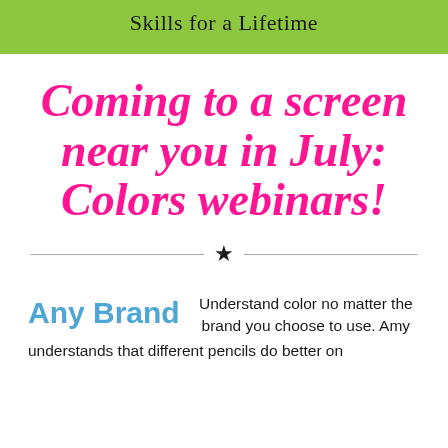[Figure (illustration): Green banner with cursive/handwritten text reading 'Skills for a Lifetime']
Coming to a screen near you in July: Colors webinars!
★ (decorative star divider)
Any Brand
Understand color no matter the brand you choose to use. Amy understands that different pencils do better on